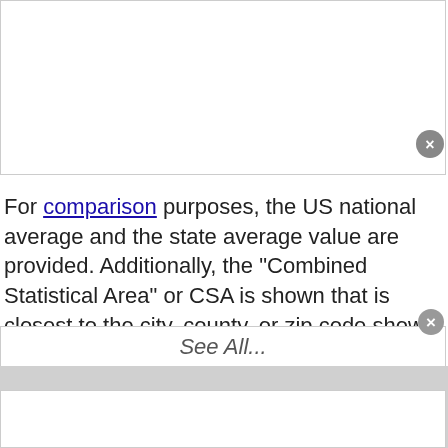For comparison purposes, the US national average and the state average value are provided. Additionally, the "Combined Statistical Area" or CSA is shown that is closest to the city, county, or zip code shown. A CSA is a large grouping of adjacent metropolitan areas that identified by the Census Bureau based on social and economic ties. (See: Combined Statistical Area)
Data sources - Mouse over icon in upper right corner of each chart for information.